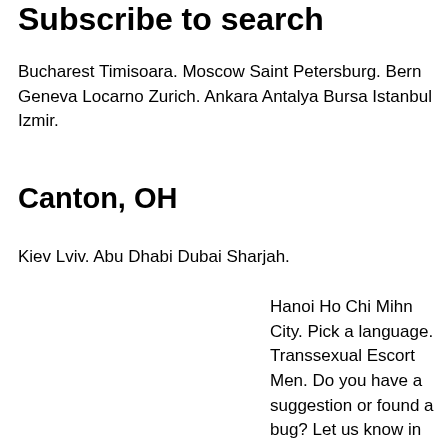Subscribe to search
Bucharest Timisoara. Moscow Saint Petersburg. Bern Geneva Locarno Zurich. Ankara Antalya Bursa Istanbul Izmir.
Canton, OH
Kiev Lviv. Abu Dhabi Dubai Sharjah.
Hanoi Ho Chi Mihn City. Pick a language. Transsexual Escort Men. Do you have a suggestion or found a bug? Let us know in the field below. How